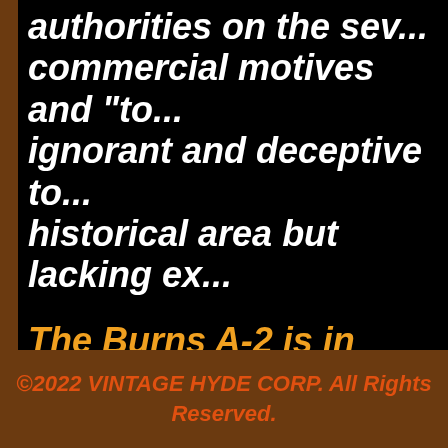authorities on the sev... commercial motives and "to... ignorant and deceptive to... historical area but lacking ex...
The Burns A-2 is in Mint con...
We thank Carolyn Hayes o... Jacke...
©2022 VINTAGE HYDE CORP. All Rights Reserved.